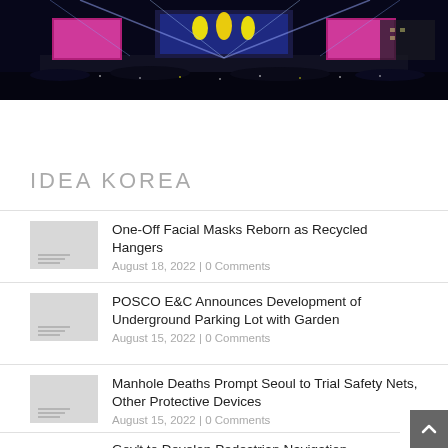[Figure (photo): Concert or outdoor event at night with stage lights, large LED screens showing performers, crowd in foreground, blue and purple light beams]
IDEA KOREA
One-Off Facial Masks Reborn as Recycled Hangers | August 18, 2022 | 0 Comments
POSCO E&C Announces Development of Underground Parking Lot with Garden | August 15, 2022 | 0 Comments
Manhole Deaths Prompt Seoul to Trial Safety Nets, Other Protective Devices | August 15, 2022 | 0 Comments
Gov't to Develop Pedestrian Navigation Service the Disabled